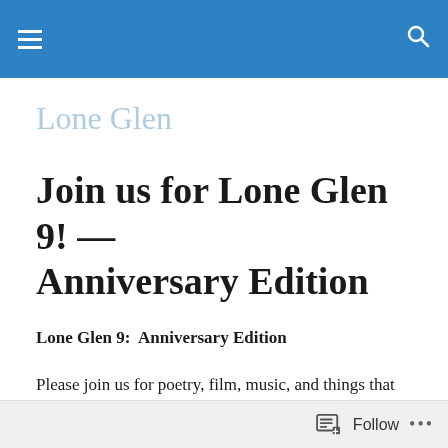≡  🔍
Lone Glen
Join us for Lone Glen 9! — Anniversary Edition
Lone Glen 9:  Anniversary Edition
Please join us for poetry, film, music, and things that sparkle (water, Bacchus, and Christmas lights) at our Anniversary Lone Glen, 7:30 pm on Saturday, 14 December.  The night's provisions will provide something for everyone, including
Follow  •••